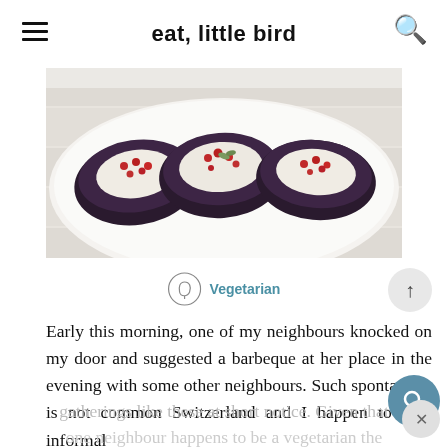eat, little bird
[Figure (photo): Overhead photo of roasted eggplant halves on a white plate, topped with white cream and red pomegranate seeds on a white wooden surface.]
Vegetarian
Early this morning, one of my neighbours knocked on my door and suggested a barbeque at her place in the evening with some other neighbours. Such spontaneity is not common Switzerland and I happen to love informal gatherings like these at short notice. Given that one neighbour happens to be a vegetarian the